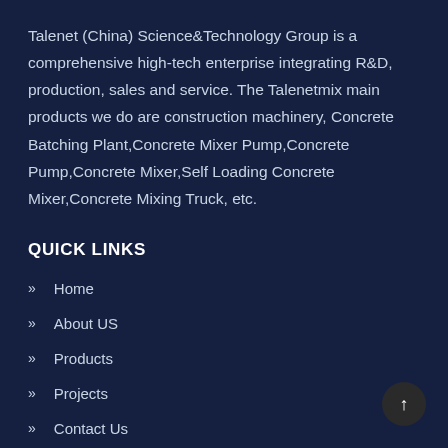Talenet (China) Science&Technology Group is a comprehensive high-tech enterprise integrating R&D, production, sales and service. The Talenetmix main products we do are construction machinery, Concrete Batching Plant,Concrete Mixer Pump,Concrete Pump,Concrete Mixer,Self Loading Concrete Mixer,Concrete Mixing Truck, etc.
QUICK LINKS
Home
About US
Products
Projects
Contact Us